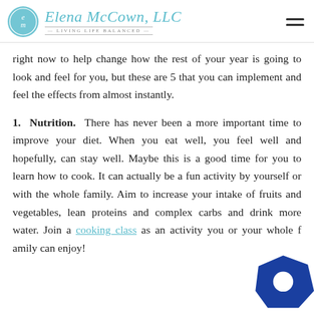Elena McCown, LLC — LIVING LIFE BALANCED
right now to help change how the rest of your year is going to look and feel for you, but these are 5 that you can implement and feel the effects from almost instantly.
1. Nutrition. There has never been a more important time to improve your diet. When you eat well, you feel well and hopefully, can stay well. Maybe this is a good time for you to learn how to cook. It can actually be a fun activity by yourself or with the whole family. Aim to increase your intake of fruits and vegetables, lean proteins and complex carbs and drink more water. Join a cooking class as an activity you or your whole family can enjoy!